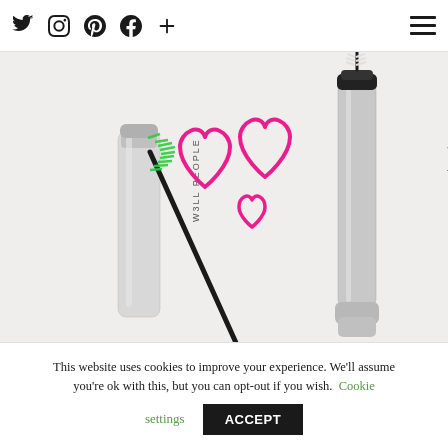Social icons: Twitter, Instagram, Pinterest, Facebook, Plus; Hamburger menu
[Figure (photo): Two mascara products on white background with pink hand-drawn hearts. Left product is W3LL PEOPLE mascara with green brush wand extended. Right product is rms beauty mascara with black wand. Pink heart outlines drawn in center between products.]
This website uses cookies to improve your experience. We'll assume you're ok with this, but you can opt-out if you wish. Cookie settings ACCEPT